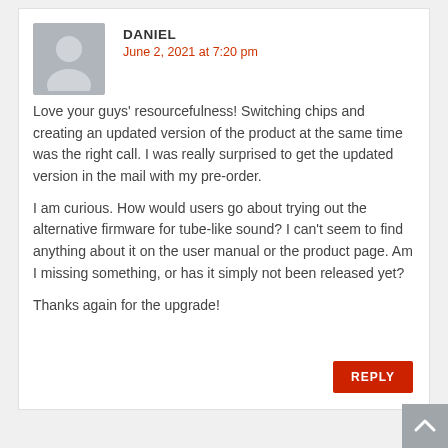[Figure (illustration): Gray avatar silhouette of a person on a gray background]
DANIEL
June 2, 2021 at 7:20 pm
Love your guys' resourcefulness! Switching chips and creating an updated version of the product at the same time was the right call. I was really surprised to get the updated version in the mail with my pre-order.
I am curious. How would users go about trying out the alternative firmware for tube-like sound? I can't seem to find anything about it on the user manual or the product page. Am I missing something, or has it simply not been released yet?
Thanks again for the upgrade!